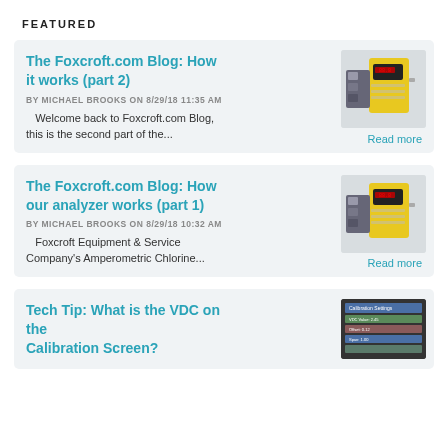FEATURED
The Foxcroft.com Blog: How it works (part 2)
BY MICHAEL BROOKS ON 8/29/18 11:35 AM
Welcome back to Foxcroft.com Blog, this is the second part of the...
Read more
[Figure (photo): Yellow industrial analyzer device]
The Foxcroft.com Blog: How our analyzer works (part 1)
BY MICHAEL BROOKS ON 8/29/18 10:32 AM
Foxcroft Equipment & Service Company's Amperometric Chlorine...
Read more
[Figure (photo): Yellow industrial analyzer device]
Tech Tip: What is the VDC on the Calibration Screen?
[Figure (screenshot): Screen calibration screenshot]